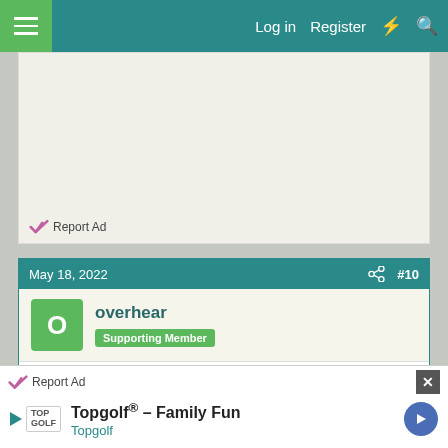Log in  Register
[Figure (screenshot): Advertisement placeholder area with Report Ad link]
Report Ad
May 18, 2022   #10
overhear
Supporting Member
My bunny was reluctant to eat hay at all when we got her so I mixed in a few fresh greens at first and slowly reduced them. Worked very well.
Report Ad
[Figure (screenshot): Topgolf advertisement banner showing Topgolf logo and text: Topgolf® - Family Fun, Topgolf]